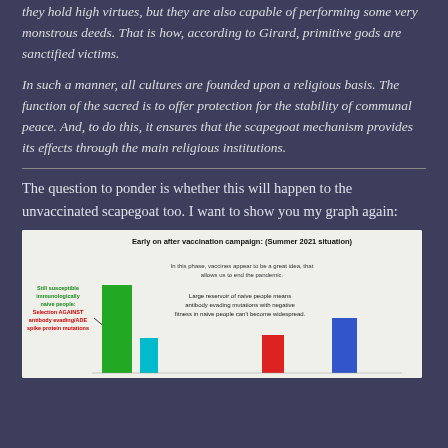they hold high virtues, but they are also capable of performing some very monstrous deeds. That is how, according to Girard, primitive gods are sanctified victims.
In such a manner, all cultures are founded upon a religious basis. The function of the sacred is to offer protection for the stability of communal peace. And, to do this, it ensures that the scapegoat mechanism provides its effects through the main religious institutions.
The question to ponder is whether this will happen to the unvaccinated scapegoat too. I want to show you my graph again:
[Figure (bar-chart): Bar chart showing early post-vaccination campaign scenario (Summer 2021). Annotations: still susceptible immunologically naive people; selection AGAINST antibody evading/ADE spike protein mutations. Large green bar, small cyan bar, small red bar, medium blue bar. Text: In this phase, vaccines appear to be a great idea that allows us to end the pandemic. Large reservoir of naive people means antibody evading mutations with negative fitness in naive people can't become widespread.]